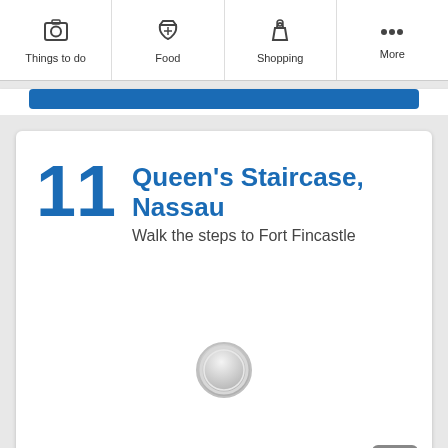Things to do | Food | Shopping | More
11 Queen's Staircase, Nassau
Walk the steps to Fort Fincastle
[Figure (other): Loading spinner / content loading indicator (circular spinner graphic centered in the card area)]